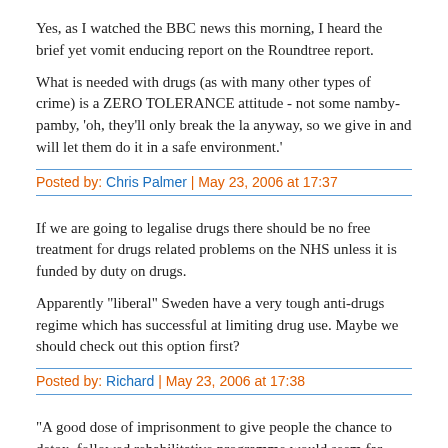Yes, as I watched the BBC news this morning, I heard the brief yet vomit enducing report on the Roundtree report.
What is needed with drugs (as with many other types of crime) is a ZERO TOLERANCE attitude - not some namby-pamby, 'oh, they'll only break the law anyway, so we give in and will let them do it in a safe environment.'
Posted by: Chris Palmer | May 23, 2006 at 17:37
If we are going to legalise drugs there should be no free treatment for drugs related problems on the NHS unless it is funded by duty on drugs.
Apparently "liberal" Sweden have a very tough anti-drugs regime which has successful at limiting drug use. Maybe we should check out this option first?
Posted by: Richard | May 23, 2006 at 17:38
"A good dose of imprisonment to give people the chance to detox, followed rehabilitative programme would seem far more likely to have some effect." - James Hellyer
Which doesn't actually work at the moment, because the use of drugs and the accessibility to them is almost as prevalent on the inside as it is out. Prisons